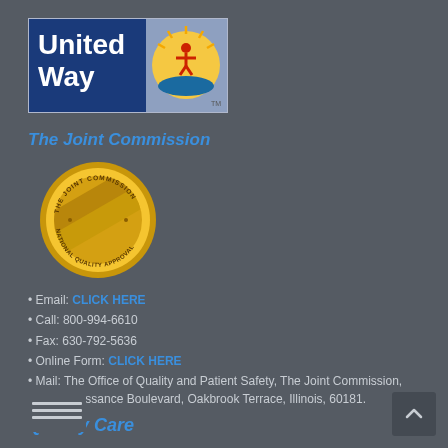[Figure (logo): United Way logo with blue square showing 'United Way' text in white and circular gold/blue emblem with person figure on right side]
The Joint Commission
[Figure (logo): The Joint Commission gold medal/seal - National Quality Approval circular gold emblem with diagonal stripe]
Email: CLICK HERE
Call: 800-994-6610
Fax: 630-792-5636
Online Form: CLICK HERE
Mail: The Office of Quality and Patient Safety, The Joint Commission, One Renaissance Boulevard, Oakbrook Terrace, Illinois, 60181.
Quality Care